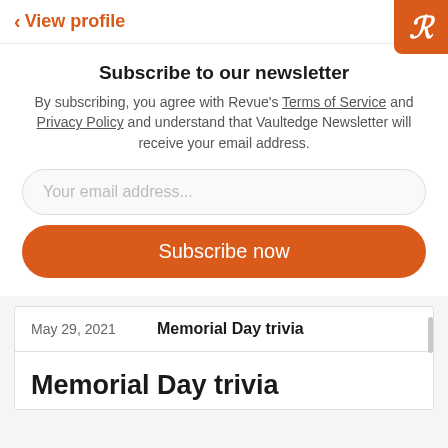< View profile
Subscribe to our newsletter
By subscribing, you agree with Revue's Terms of Service and Privacy Policy and understand that Vaultedge Newsletter will receive your email address.
Your email address...
Subscribe now
| Date | Title |
| --- | --- |
| May 29, 2021 | Memorial Day trivia |
Memorial Day trivia